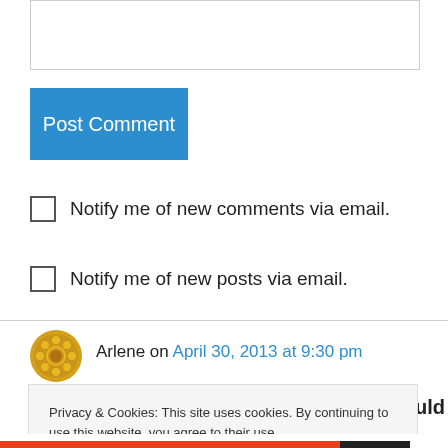[Figure (other): Text input area (textarea) with border, partially visible at top of page]
Post Comment
Notify me of new comments via email.
Notify me of new posts via email.
Arlene on April 30, 2013 at 9:30 pm
I remember the event well and would be
Privacy & Cookies: This site uses cookies. By continuing to use this website, you agree to their use.
To find out more, including how to control cookies, see here: Cookie Policy
Close and accept